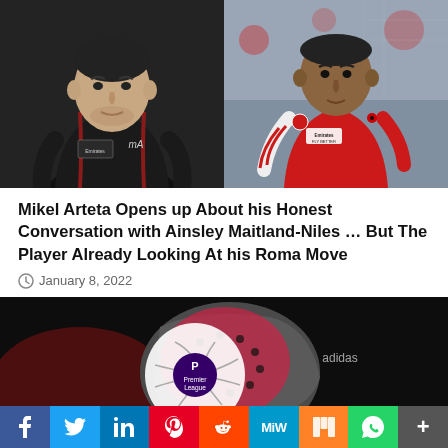[Figure (photo): Two-panel sports photo: left panel shows Mikel Arteta in Arsenal black training jacket with Emirates badge; right panel shows Ainsley Maitland-Niles in red Arsenal Emirates Fly Better match kit.]
Mikel Arteta Opens up About his Honest Conversation with Ainsley Maitland-Niles … But The Player Already Looking At his Roma Move
January 8, 2022
[Figure (photo): Close-up of a Premier League ball held in a red goalkeeper glove against a dark background.]
f  Twitter  in  P  Reddit  MW  M  WhatsApp  +